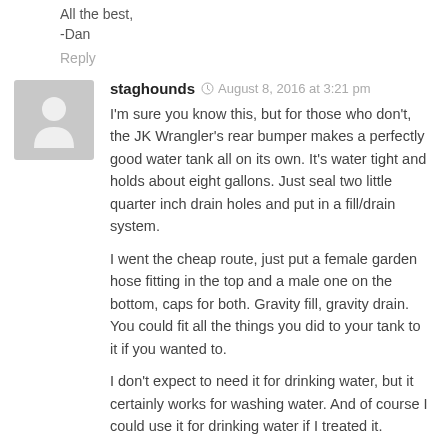All the best,
-Dan
Reply
staghounds  August 8, 2016 at 3:21 pm
I'm sure you know this, but for those who don't, the JK Wrangler's rear bumper makes a perfectly good water tank all on its own. It's water tight and holds about eight gallons. Just seal two little quarter inch drain holes and put in a fill/drain system.
I went the cheap route, just put a female garden hose fitting in the top and a male one on the bottom, caps for both. Gravity fill, gravity drain. You could fit all the things you did to your tank to it if you wanted to.
I don't expect to need it for drinking water, but it certainly works for washing water. And of course I could use it for drinking water if I treated it.
Or fuel if there were some emergency.
Thank you, I just found this blog and I'm devouring it! Was in South Africa a couple of weeks ago, very few jeeps to my